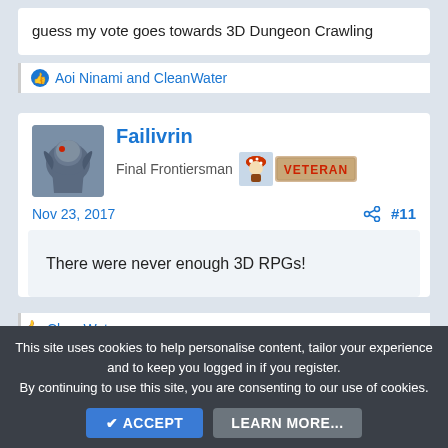guess my vote goes towards 3D Dungeon Crawling
Aoi Ninami and CleanWater
Failivrin
Final Frontiersman
Nov 23, 2017
#11
There were never enough 3D RPGs!
CleanWater
This site uses cookies to help personalise content, tailor your experience and to keep you logged in if you register.
By continuing to use this site, you are consenting to our use of cookies.
ACCEPT
LEARN MORE...